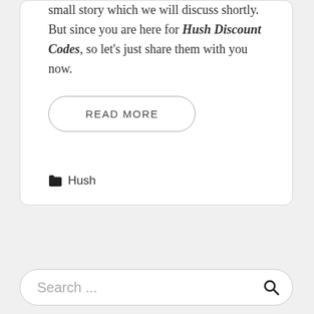small story which we will discuss shortly. But since you are here for Hush Discount Codes, so let's just share them with you now.
READ MORE
Hush